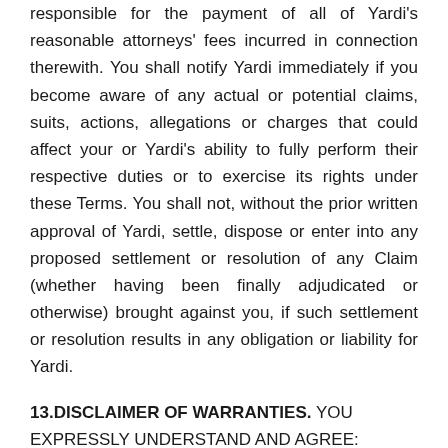responsible for the payment of all of Yardi's reasonable attorneys' fees incurred in connection therewith. You shall notify Yardi immediately if you become aware of any actual or potential claims, suits, actions, allegations or charges that could affect your or Yardi's ability to fully perform their respective duties or to exercise its rights under these Terms. You shall not, without the prior written approval of Yardi, settle, dispose or enter into any proposed settlement or resolution of any Claim (whether having been finally adjudicated or otherwise) brought against you, if such settlement or resolution results in any obligation or liability for Yardi.
13.DISCLAIMER OF WARRANTIES. YOU EXPRESSLY UNDERSTAND AND AGREE:
13.1 YOUR USE OF THE SITE AND THE SERVICES IS AT